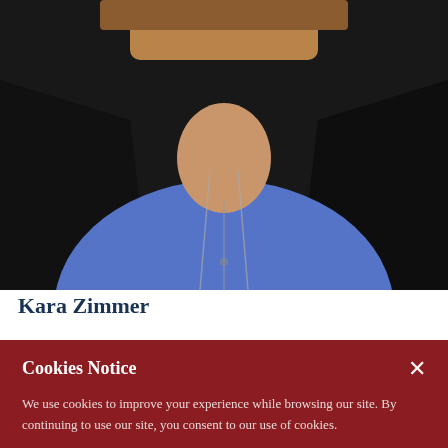[Figure (photo): Professional headshot photo showing woman in blue shirt and black jacket with silver chain necklace, dark background, cropped at torso level]
Kara Zimmer
Cookies Notice
We use cookies to improve your experience while browsing our site. By continuing to use our site, you consent to our use of cookies.
DISMISS
Chat with an Expert